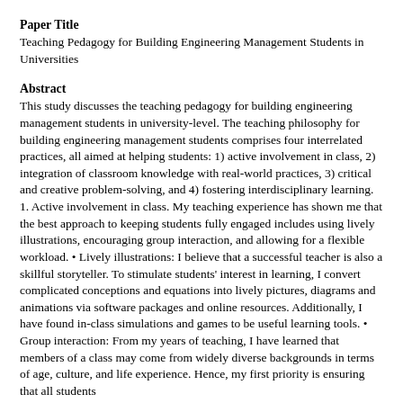Paper Title
Teaching Pedagogy for Building Engineering Management Students in Universities
Abstract
This study discusses the teaching pedagogy for building engineering management students in university-level. The teaching philosophy for building engineering management students comprises four interrelated practices, all aimed at helping students: 1) active involvement in class, 2) integration of classroom knowledge with real-world practices, 3) critical and creative problem-solving, and 4) fostering interdisciplinary learning. 1. Active involvement in class. My teaching experience has shown me that the best approach to keeping students fully engaged includes using lively illustrations, encouraging group interaction, and allowing for a flexible workload. • Lively illustrations: I believe that a successful teacher is also a skillful storyteller. To stimulate students' interest in learning, I convert complicated conceptions and equations into lively pictures, diagrams and animations via software packages and online resources. Additionally, I have found in-class simulations and games to be useful learning tools. • Group interaction: From my years of teaching, I have learned that members of a class may come from widely diverse backgrounds in terms of age, culture, and life experience. Hence, my first priority is ensuring that all students